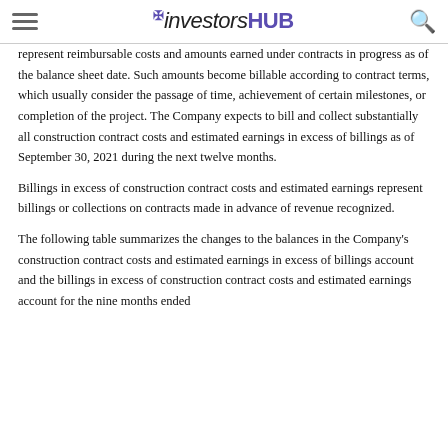investorshub
represent reimbursable costs and amounts earned under contracts in progress as of the balance sheet date. Such amounts become billable according to contract terms, which usually consider the passage of time, achievement of certain milestones, or completion of the project. The Company expects to bill and collect substantially all construction contract costs and estimated earnings in excess of billings as of September 30, 2021 during the next twelve months.
Billings in excess of construction contract costs and estimated earnings represent billings or collections on contracts made in advance of revenue recognized.
The following table summarizes the changes to the balances in the Company's construction contract costs and estimated earnings in excess of billings account and the billings in excess of construction contract costs and estimated earnings account for the nine months ended